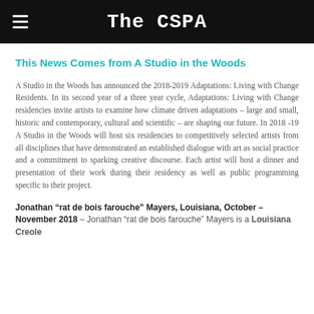The CSPA
This News Comes from A Studio in the Woods
A Studio in the Woods has announced the 2018-2019 Adaptations: Living with Change Residents. In its second year of a three year cycle, Adaptations: Living with Change residencies invite artists to examine how climate driven adaptations – large and small, historic and contemporary, cultural and scientific – are shaping our future. In 2018 -19 A Studio in the Woods will host six residencies to competitively selected artists from all disciplines that have demonstrated an established dialogue with art as social practice and a commitment to sparking creative discourse. Each artist will host a dinner and presentation of their work during their residency as well as public programming specific to their project.
Jonathan “erat de bois farouche” Mayers, Louisiana, October – November 2018 – Jonathan “rat de bois farouche” Mayers is a Louisiana Creole